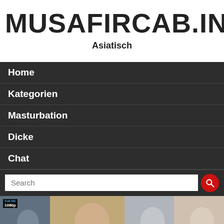MUSAFIRCAB.IN
Asiatisch
Home
Kategorien
Masturbation
Dicke
Chat
[Figure (screenshot): Search bar with text input and red circular search button]
[Figure (photo): Four video thumbnail images side by side at bottom of page, including Full HD 1080p badge on first thumbnail, Asian logo on second, and Watch Free Videos button on fourth]